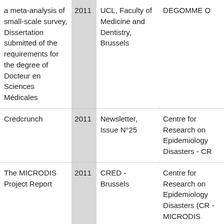| a meta-analysis of small-scale survey, Dissertation submitted of the requirements for the degree of Docteur en Sciences Médicales | 2011 | UCL, Faculty of Medicine and Dentistry, Brussels | DEGOMME O |
| Credcrunch | 2011 | Newsletter, Issue N°25 | Centre for Research on Epidemiology Disasters - CR |
| The MICRODIS Project Report | 2011 | CRED - Brussels | Centre for Research on Epidemiology Disasters (CR - MICRODIS |